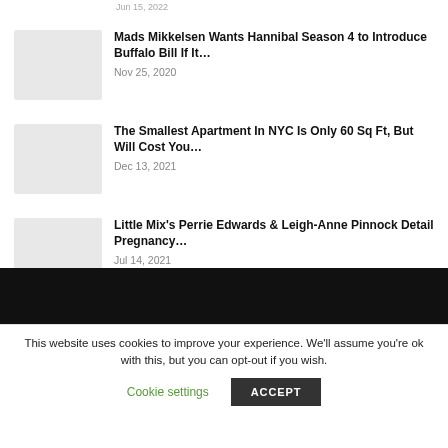Jun 15, 2022
[Figure (photo): Thumbnail image placeholder for Mads Mikkelsen article]
Mads Mikkelsen Wants Hannibal Season 4 to Introduce Buffalo Bill If It…
Nov 25, 2020
[Figure (photo): Thumbnail image placeholder for Smallest Apartment article]
The Smallest Apartment In NYC Is Only 60 Sq Ft, But Will Cost You…
Dec 13, 2021
[Figure (photo): Thumbnail image placeholder for Little Mix article]
Little Mix's Perrie Edwards & Leigh-Anne Pinnock Detail Pregnancy…
Jul 14, 2021
This website uses cookies to improve your experience. We'll assume you're ok with this, but you can opt-out if you wish.
Cookie settings
ACCEPT